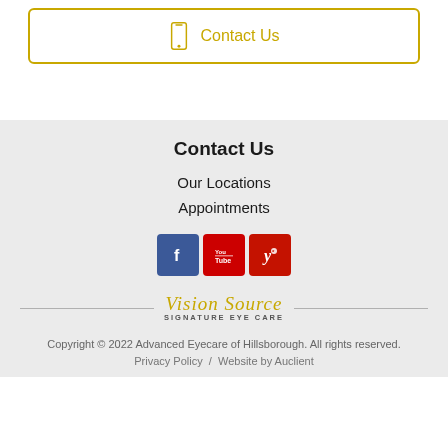[Figure (other): Contact Us button with phone icon inside a gold-bordered rounded rectangle]
Contact Us
Our Locations
Appointments
[Figure (other): Social media icons: Facebook (blue), YouTube (red), Yelp (red)]
[Figure (logo): Vision Source Signature Eye Care logo in gold script with horizontal rules on sides]
Copyright © 2022 Advanced Eyecare of Hillsborough. All rights reserved.
Privacy Policy / Website by Auclient